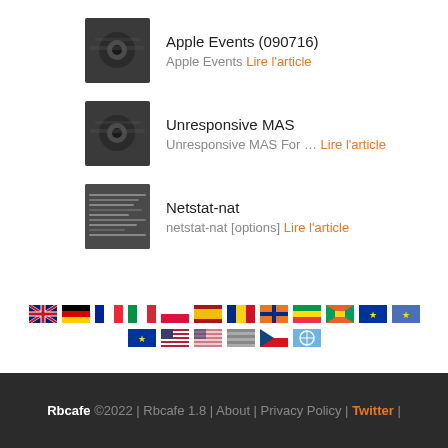Apple Events (090716) — Apple Events Lire l'article
Unresponsive MAS — Unresponsive MAS For … Lire l'article
Netstat-nat — netstat-nat [options] Lire l'article
[Figure (infographic): Two rows of country flag icons representing language/locale options]
Rbcafe ©2022 | Rbcafe 1.8 | About | Privacy Policy | Twitter |